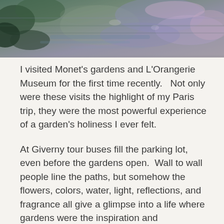[Figure (photo): A partial view of a painting or photograph showing impressionist-style garden imagery with blues, greens, and purples, suggesting water and foliage in Monet's style.]
I visited Monet's gardens and L'Orangerie Museum for the first time recently.   Not only were these visits the highlight of my Paris trip, they were the most powerful experience of a garden's holiness I ever felt.
At Giverny tour buses fill the parking lot, even before the gardens open.  Wall to wall people line the paths, but somehow the flowers, colors, water, light, reflections, and fragrance all give a glimpse into a life where gardens were the inspiration and nourishment to the soul of a man whose greatest artistry was his garden itself, and to